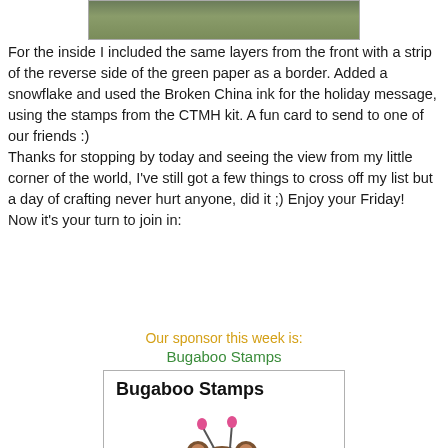[Figure (photo): Partial top image of a craft card with green background]
For the inside I included the same layers from the front with a strip of the reverse side of the green paper as a border. Added a snowflake and used the Broken China ink for the holiday message, using the stamps from the CTMH kit. A fun card to send to one of our friends :)
Thanks for stopping by today and seeing the view from my little corner of the world, I've still got a few things to cross off my list but a day of crafting never hurt anyone, did it ;) Enjoy your Friday!
Now it's your turn to join in:
Our sponsor this week is:
Bugaboo Stamps
[Figure (illustration): Bugaboo Stamps logo with a cartoon bear wearing a green bug costume with pink wings]